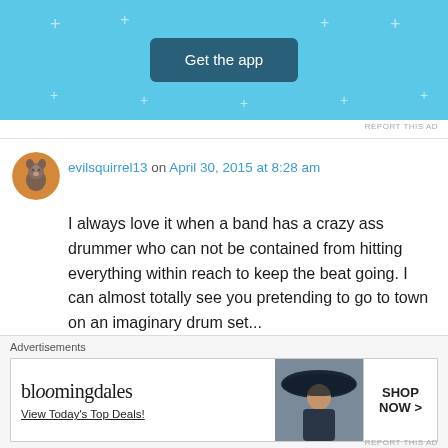[Figure (screenshot): Get the app button on light blue background with plus/star marks]
REPORT THIS AD
evilsquirrel13 on April 30, 2015 at 8:28 am
I always love it when a band has a crazy ass drummer who can not be contained from hitting everything within reach to keep the beat going. I can almost totally see you pretending to go to town on an imaginary drum set...
★ Like
↵ Reply
[Figure (screenshot): Bloomingdales advertisement: bloomingdales logo, View Today's Top Deals!, woman with hat, SHOP NOW >]
REPORT THIS AD